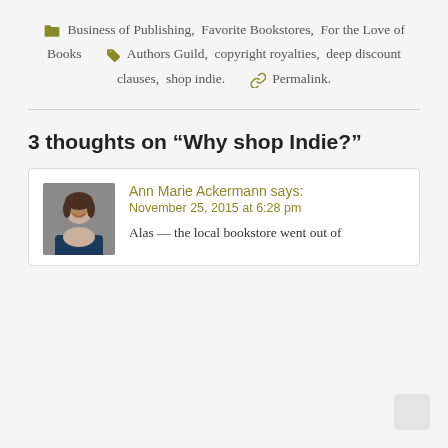Business of Publishing, Favorite Bookstores, For the Love of Books   Authors Guild, copyright royalties, deep discount clauses, shop indie.   Permalink.
3 thoughts on “Why shop Indie?”
Ann Marie Ackermann says: November 25, 2015 at 6:28 pm  Alas — the local bookstore went out of